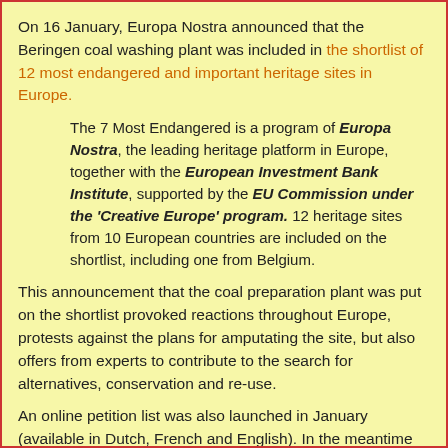On 16 January, Europa Nostra announced that the Beringen coal washing plant was included in the shortlist of 12 most endangered and important heritage sites in Europe.
The 7 Most Endangered is a program of Europa Nostra, the leading heritage platform in Europe, together with the European Investment Bank Institute, supported by the EU Commission under the 'Creative Europe' program. 12 heritage sites from 10 European countries are included on the shortlist, including one from Belgium.
This announcement that the coal preparation plant was put on the shortlist provoked reactions throughout Europe, protests against the plans for amputating the site, but also offers from experts to contribute to the search for alternatives, conservation and re-use.
An online petition list was also launched in January (available in Dutch, French and English). In the meantime 1098 statements of support were received (standings 1 March, 12:00), not only from Belgium, but also many from the Netherlands and Germany, and from Great Britain, France, Italy, Spain, Portugal,